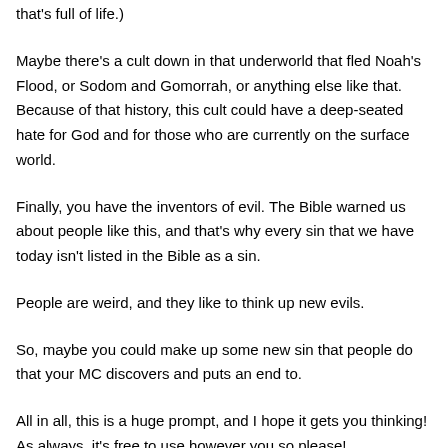that's full of life.)
Maybe there's a cult down in that underworld that fled Noah's Flood, or Sodom and Gomorrah, or anything else like that. Because of that history, this cult could have a deep-seated hate for God and for those who are currently on the surface world.
Finally, you have the inventors of evil. The Bible warned us about people like this, and that's why every sin that we have today isn't listed in the Bible as a sin.
People are weird, and they like to think up new evils.
So, maybe you could make up some new sin that people do that your MC discovers and puts an end to.
All in all, this is a huge prompt, and I hope it gets you thinking! As always, it's free to use however you so please!